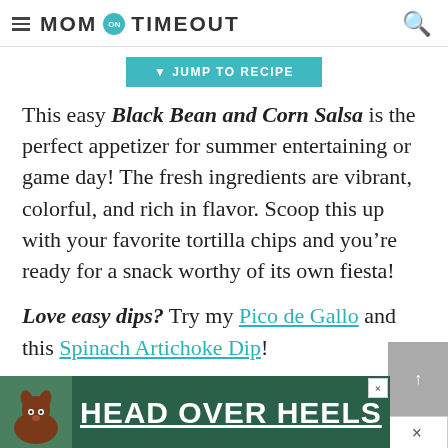MOM ON TIMEOUT
JUMP TO RECIPE
This easy Black Bean and Corn Salsa is the perfect appetizer for summer entertaining or game day! The fresh ingredients are vibrant, colorful, and rich in flavor. Scoop this up with your favorite tortilla chips and you’re ready for a snack worthy of its own fiesta!
Love easy dips? Try my Pico de Gallo and this Spinach Artichoke Dip!
[Figure (photo): Advertisement banner with a dog image and text HEAD OVER HEELS on dark green background]